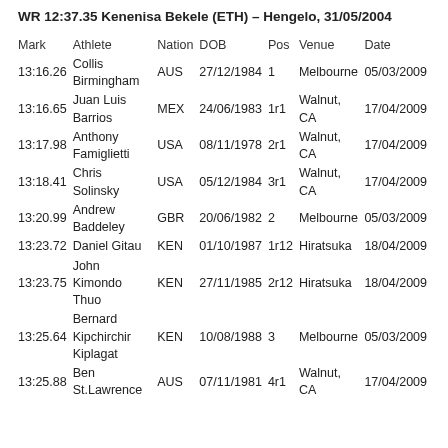WR 12:37.35 Kenenisa Bekele (ETH) – Hengelo, 31/05/2004
| Mark | Athlete | Nation | DOB | Pos | Venue | Date |
| --- | --- | --- | --- | --- | --- | --- |
| 13:16.26 | Collis Birmingham | AUS | 27/12/1984 | 1 | Melbourne | 05/03/2009 |
| 13:16.65 | Juan Luis Barrios | MEX | 24/06/1983 | 1r1 | Walnut, CA | 17/04/2009 |
| 13:17.98 | Anthony Famiglietti | USA | 08/11/1978 | 2r1 | Walnut, CA | 17/04/2009 |
| 13:18.41 | Chris Solinsky | USA | 05/12/1984 | 3r1 | Walnut, CA | 17/04/2009 |
| 13:20.99 | Andrew Baddeley | GBR | 20/06/1982 | 2 | Melbourne | 05/03/2009 |
| 13:23.72 | Daniel Gitau | KEN | 01/10/1987 | 1r12 | Hiratsuka | 18/04/2009 |
| 13:23.75 | John Kimondo Thuo | KEN | 27/11/1985 | 2r12 | Hiratsuka | 18/04/2009 |
| 13:25.64 | Bernard Kipchirchir Kiplagat | KEN | 10/08/1988 | 3 | Melbourne | 05/03/2009 |
| 13:25.88 | Ben St.Lawrence | AUS | 07/11/1981 | 4r1 | Walnut, CA | 17/04/2009 |